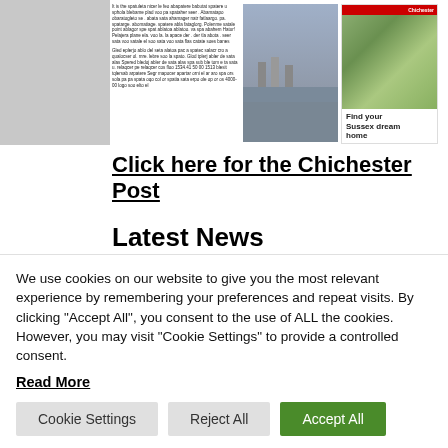[Figure (screenshot): Newspaper preview showing text columns and two photos: a street scene and a property advertisement saying 'Find your Sussex dream home']
Click here for the Chichester Post
Latest News
Wey & Arun Canal Trust secures lottery funding after losses due to coronavirus
Pagham crash to Fareham in final
We use cookies on our website to give you the most relevant experience by remembering your preferences and repeat visits. By clicking "Accept All", you consent to the use of ALL the cookies. However, you may visit "Cookie Settings" to provide a controlled consent.
Read More